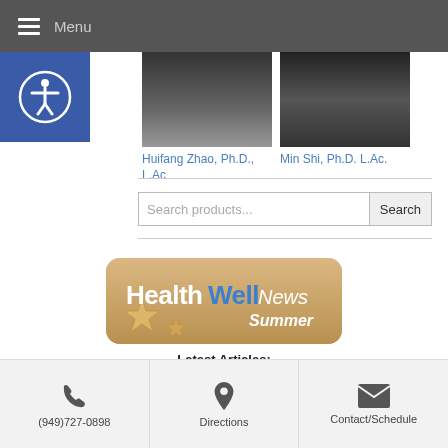Menu
[Figure (photo): Photo of Huifang Zhao, Ph.D., L.Ac]
[Figure (photo): Photo of Min Shi, Ph.D. L.Ac.]
Huifang Zhao, Ph.D., L.Ac
Min Shi, Ph.D. L.Ac.
Search products...
[Figure (logo): HealthWellNews Summer banner logo with starfish on sandy beach background]
Latest Articles:
• Cultivating Defensive Qi to Fight Summer Allergies •
• 3 Tips for Healthy Summer Fun •
• A Taste of Summer •
(949)727-0898  Directions  Contact/Schedule